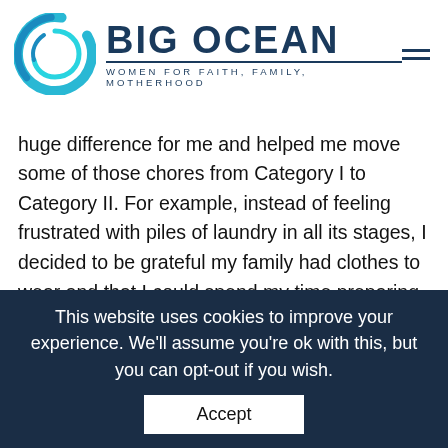[Figure (logo): Big Ocean Women logo with teal circular wave graphic and text 'BIG OCEAN WOMEN FOR FAITH, FAMILY, MOTHERHOOD']
huge difference for me and helped me move some of those chores from Category I to Category II. For example, instead of feeling frustrated with piles of laundry in all its stages, I decided to be grateful my family had clothes to wear and that I could spend my time preparing those clothes for them because I love them. I could also spend my time helping them learn how to do their own laundry and care for their own clothes as part of my long-term goal to raise independent children.
Fourth, I learned that making lists of when I would do which
This website uses cookies to improve your experience. We'll assume you're ok with this, but you can opt-out if you wish.
Accept